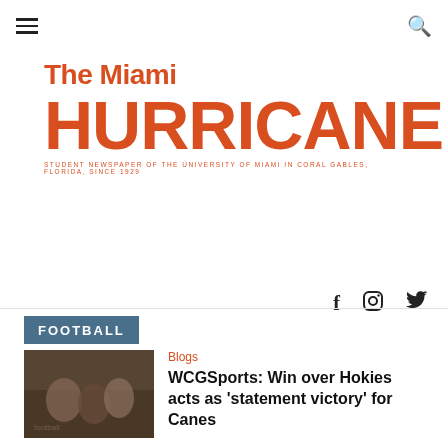The Miami HURRICANE — STUDENT NEWSPAPER OF THE UNIVERSITY OF MIAMI IN CORAL GABLES, FLORIDA, SINCE 1929
[Figure (logo): The Miami Hurricane newspaper logo in orange/red. Large bold HURRICANE text with 'The Miami' above and tagline 'STUDENT NEWSPAPER OF THE UNIVERSITY OF MIAMI IN CORAL GABLES, FLORIDA, SINCE 1929' below.]
FOOTBALL
Blogs
WCGSports: Win over Hokies acts as 'statement victory' for Canes